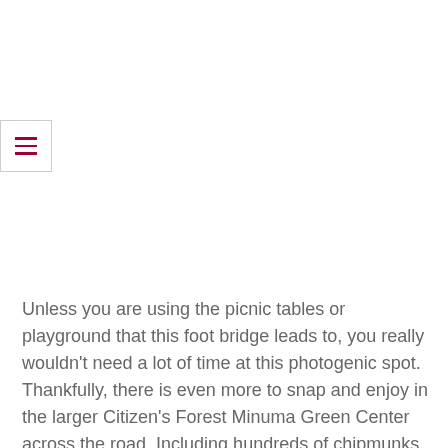[Figure (other): Hamburger menu icon button with three dark red horizontal lines on a white background with light gray border]
Unless you are using the picnic tables or playground that this foot bridge leads to, you really wouldn't need a lot of time at this photogenic spot. Thankfully, there is even more to snap and enjoy in the larger Citizen's Forest Minuma Green Center across the road. Including hundreds of chipmunks. And even more cherry blossoms. A post for another day, watch this space!